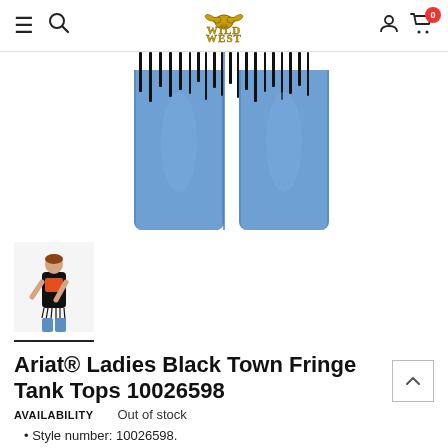Wild West — navigation header with hamburger menu, search, logo, user icon, cart (0)
[Figure (photo): Close-up product photo showing lower portion of a black fringe tank top worn with blue jeans, white background]
[Figure (photo): Thumbnail image of woman wearing the Ariat black fringe tank top with blue jeans, selected thumbnail with underline]
Ariat® Ladies Black Town Fringe Tank Tops 10026598
AVAILABILITY   Out of stock
Style number: 10026598.